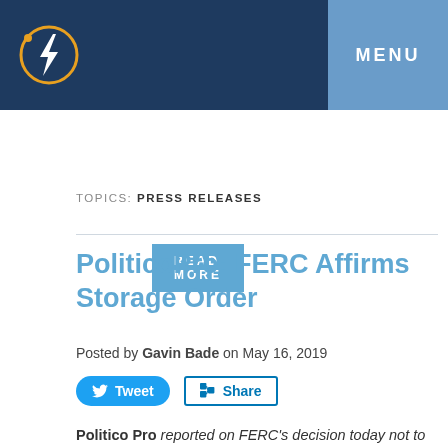MENU
READ MORE
TOPICS: PRESS RELEASES
PoliticoPro: FERC Affirms Storage Order
Posted by Gavin Bade on May 16, 2019
Tweet  Share
Politico Pro reported on FERC's decision today not to rehear arguments on Order 841 that allows